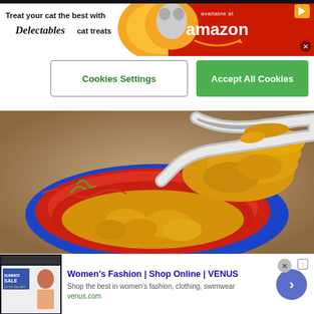[Figure (infographic): Advertisement banner: 'Treat your cat the best with Delectables cat treats' — available at amazon, red background with cat image]
Cookies Settings
Accept All Cookies
[Figure (photo): Close-up photo of yellow/golden turmeric powder in a colorful blue, red and green decorative bowl with a silver spoon scooping the powder]
[Figure (infographic): Advertisement: Women's Fashion | Shop Online | VENUS — Shop the best in women's fashion, clothing, swimwear — venus.com]